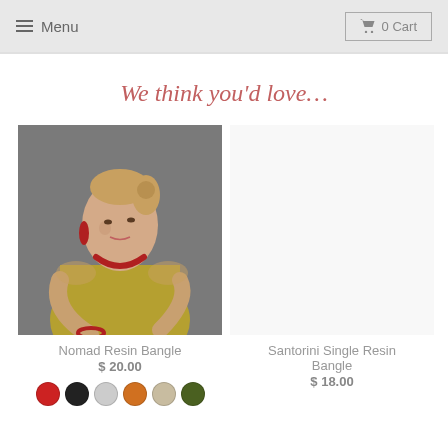Menu  |  0 Cart
We think you'd love…
[Figure (photo): Woman wearing red resin necklace and bangles, gold sleeveless top, grey background]
Nomad Resin Bangle
$ 20.00
Santorini Single Resin Bangle
$ 18.00